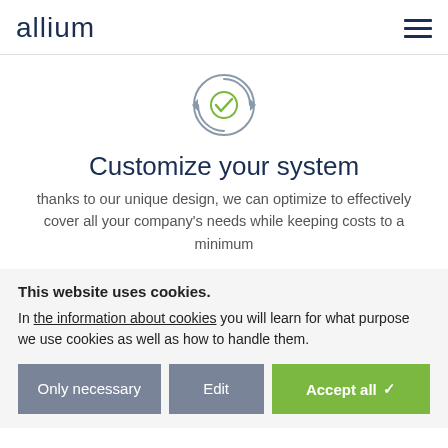allium
[Figure (illustration): Circular icon with refresh/sync arrows and a green checkmark in the center]
Customize your system
thanks to our unique design, we can optimize to effectively cover all your company’s needs while keeping costs to a minimum
This website uses cookies.
In the information about cookies you will learn for what purpose we use cookies as well as how to handle them.
Only necessary | Edit | Accept all ✓